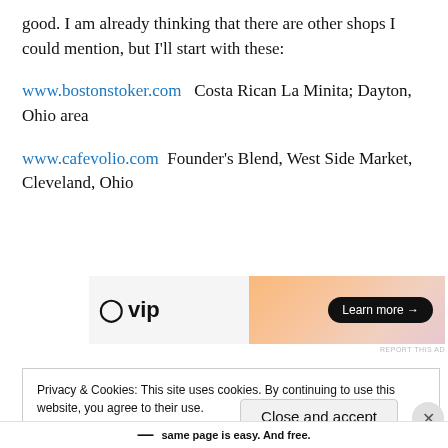good. I am already thinking that there are other shops I could mention, but I'll start with these:
www.bostonstoker.com  Costa Rican La Minita; Dayton, Ohio area
www.cafevolio.com  Founder's Blend, West Side Market, Cleveland, Ohio
[Figure (other): WordPress VIP advertisement banner with gradient background and Learn more button]
Privacy & Cookies: This site uses cookies. By continuing to use this website, you agree to their use.
To find out more, including how to control cookies, see here: Cookie Policy
same page is easy. And free.